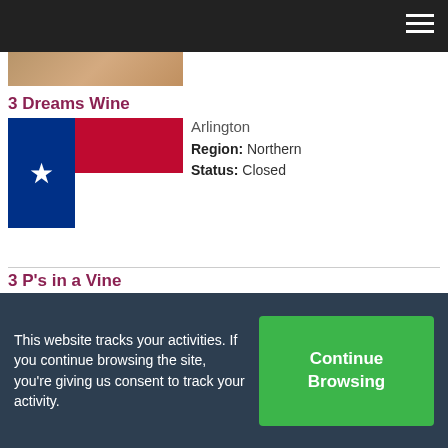Navigation bar with hamburger menu
3 Dreams Wine — Arlington — Region: Northern — Status: Closed
3 P's in a Vine — Athens — Region: Northern — Status: Open
3 Texans Winery — Temple — Region: Central — Status: Open
This website tracks your activities. If you continue browsing the site, you're giving us consent to track your activity. Continue Browsing